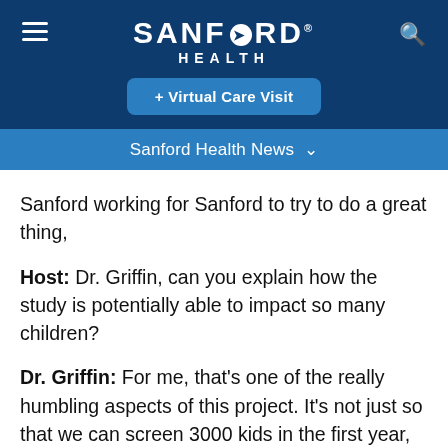[Figure (logo): Sanford Health logo with hamburger menu and search icon on a dark navy header, plus a blue Virtual Care Visit button]
Sanford Health News
Sanford working for Sanford to try to do a great thing,
Host: Dr. Griffin, can you explain how the study is potentially able to impact so many children?
Dr. Griffin: For me, that's one of the really humbling aspects of this project. It's not just so that we can screen 3000 kids in the first year, or another 30,000, the two years after that is our plan. There's a lot on the back end of this that's